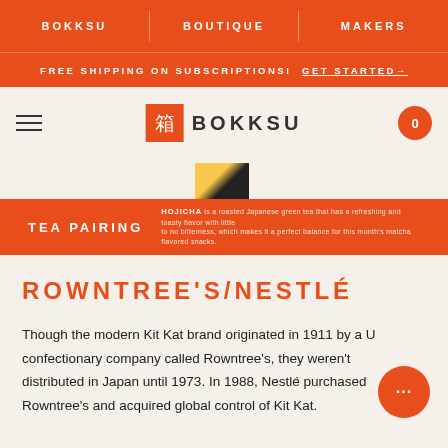BOKKSU | BOUTIQUE | MAKERS
FREE SHIPPING ON SUBSCRIPTIONS! GET STARTED→
[Figure (logo): Bokksu logo with Japanese kanji character 箱 in orange box and BOKKSU text]
[Figure (photo): Partial thumbnail image of a food item]
TEA PAIRING HOJICHA is a roasted Japanese green tea that has a refreshing and toasty flavor with little to no bitterness, which makes it a perfect balance for this month's matcha flavored snacks.
ROWNTREE'S/NESTLÉ
Though the modern Kit Kat brand originated in 1911 by a UK confectionary company called Rowntree's, they weren't distributed in Japan until 1973. In 1988, Nestlé purchased Rowntree's and acquired global control of Kit Kat.